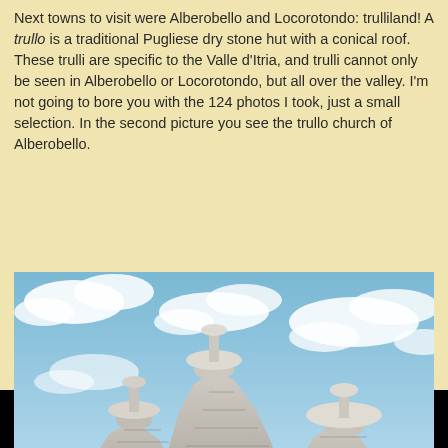Next towns to visit were Alberobello and Locorotondo: trulliland! A trullo is a traditional Pugliese dry stone hut with a conical roof. These trulli are specific to the Valle d'Itria, and trulli cannot only be seen in Alberobello or Locorotondo, but all over the valley. I'm not going to bore you with the 124 photos I took, just a small selection. In the second picture you see the trullo church of Alberobello.
[Figure (photo): Photograph showing the conical stone rooftops of three trulli buildings against a partly cloudy blue sky. The roofs are made of layered grey limestone and each is topped with a decorative stone pinnacle.]